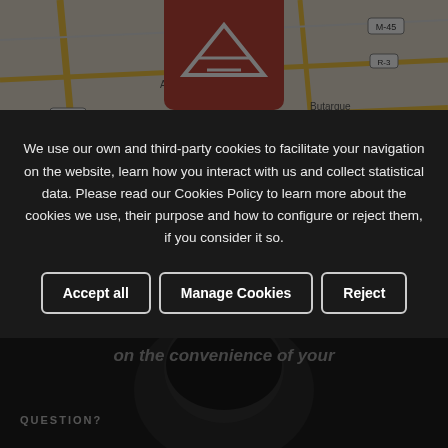[Figure (map): Map of Madrid area showing roads including M-45, R-3, A-42, R-5, A-4, M-50, areas including Alcorcón, Aluche, Butarque, Casco Histórico de Vallecas]
Properties Map
[Figure (photo): Dark photo of a person's head with a lamp overhead, dim interior scene]
Let's valuate
on the convenience of you
QUESTION?
We use our own and third-party cookies to facilitate your navigation on the website, learn how you interact with us and collect statistical data. Please read our Cookies Policy to learn more about the cookies we use, their purpose and how to configure or reject them, if you consider it so.
Accept all
Manage Cookies
Reject